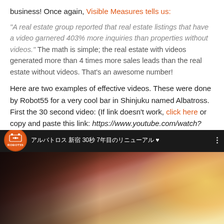business! Once again, Visible Measures tells us:
“A real estate group reported that real estate listings that have a video garnered 403% more inquiries than properties without videos.” The math is simple; the real estate with videos generated more than 4 times more sales leads than the real estate without videos. That’s an awesome number!
Here are two examples of effective videos. These were done by Robot55 for a very cool bar in Shinjuku named Albatross. First the 30 second video: (If link doesn’t work, click here or copy and paste this link: https://www.youtube.com/watch?v=VwdgP2bFL9I)
[Figure (screenshot): YouTube video thumbnail showing Robot55 channel, video titled in Japanese about a 30-second bar video, with a blurred image of a person's face and warm bokeh lighting in the background.]